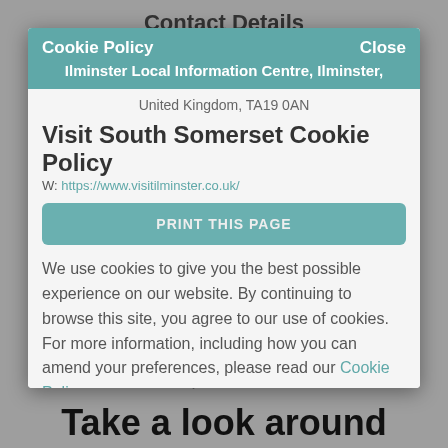Contact Details
Cookie Policy    Close
Ilminster Local Information Centre, Ilminster,
United Kingdom, TA19 0AN
Visit South Somerset Cookie Policy
W: https://www.visitilminster.co.uk/
PRINT THIS PAGE
We use cookies to give you the best possible experience on our website. By continuing to browse this site, you agree to our use of cookies. For more information, including how you can amend your preferences, please read our Cookie Policy.
Explore more
Take a look around